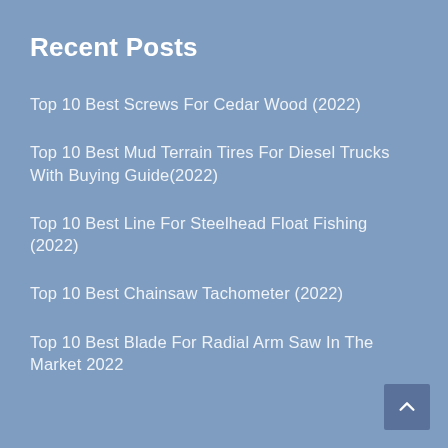Recent Posts
Top 10 Best Screws For Cedar Wood (2022)
Top 10 Best Mud Terrain Tires For Diesel Trucks With Buying Guide(2022)
Top 10 Best Line For Steelhead Float Fishing (2022)
Top 10 Best Chainsaw Tachometer (2022)
Top 10 Best Blade For Radial Arm Saw In The Market 2022